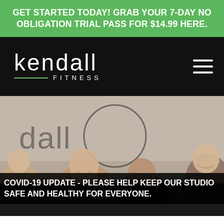GET STARTED TODAY! GRAB YOUR 7-DAY NO OBLIGATION TRIAL PASS FOR $14.99 HERE.
[Figure (logo): Kendall Fitness logo in white text on black background with green underline accent and hamburger menu icon on right]
[Figure (photo): Group of smiling women in a fitness studio, with Kendall Fitness logo visible on the wall behind them]
COVID-19 UPDATE - PLEASE HELP KEEP OUR STUDIO SAFE AND HEALTHY FOR EVERYONE.